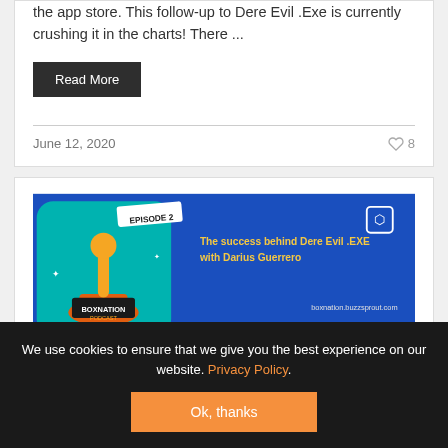the app store. This follow-up to Dere Evil .Exe is currently crushing it in the charts! There ...
Read More
June 12, 2020
8
[Figure (screenshot): Podcast banner image for BoxNation Podcast Episode 2 - The success behind Dere Evil .EXE with Darius Guerrero, showing boxnation.buzzsprout.com]
We use cookies to ensure that we give you the best experience on our website. Privacy Policy.
Ok, thanks